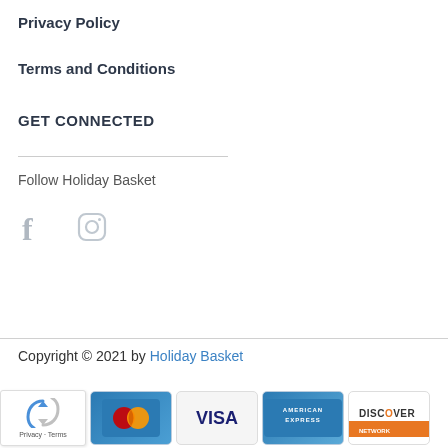Privacy Policy
Terms and Conditions
GET CONNECTED
Follow Holiday Basket
[Figure (illustration): Social media icons: Facebook (f) and Instagram (camera icon)]
Copyright © 2021 by Holiday Basket
[Figure (illustration): Payment method logos: reCAPTCHA badge, Mastercard, Visa, American Express, Discover Network]